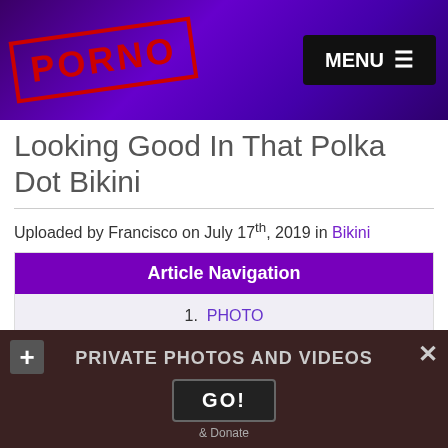PORNO | MENU
Looking Good In That Polka Dot Bikini
Uploaded by Francisco on July 17th, 2019 in Bikini
Article Navigation
1. PHOTO
2. pregnant linda swim suit (mother of love)
3. 0 comments
4. More photos
5. Comments (8)
PRIVATE PHOTOS AND VIDEOS
GO!
& Donate